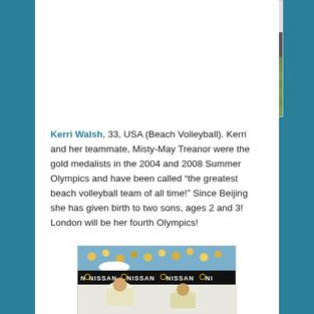[Figure (photo): Soccer player in black uniform dribbling a ball on grass field, with a sponsor banner in the background]
Kerri Walsh, 33, USA (Beach Volleyball). Kerri and her teammate, Misty-May Treanor were the gold medalists in the 2004 and 2008 Summer Olympics and have been called “the greatest beach volleyball team of all time!” Since Beijing she has given birth to two sons, ages 2 and 3! London will be her fourth Olympics!
[Figure (photo): Beach volleyball players on court with Nissan sponsorship banners visible in the background, crowd in stands]